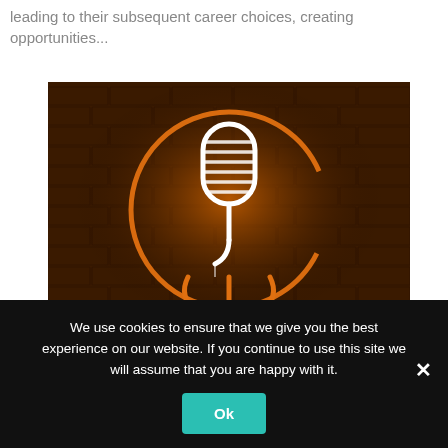leading to their subsequent career choices, creating opportunities...
[Figure (photo): Neon sign of a microphone inside a circular arc with the word PODCAST below, glowing orange and white against a dark brick wall background.]
We use cookies to ensure that we give you the best experience on our website. If you continue to use this site we will assume that you are happy with it.